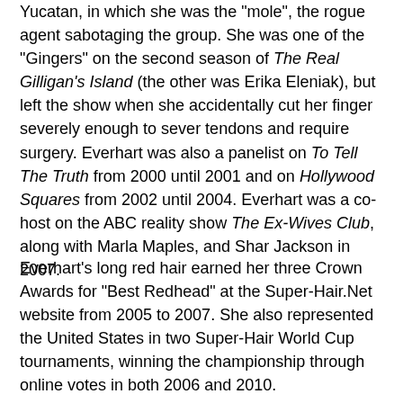Yucatan, in which she was the 'mole', the rogue agent sabotaging the group. She was one of the "Gingers" on the second season of The Real Gilligan's Island (the other was Erika Eleniak), but left the show when she accidentally cut her finger severely enough to sever tendons and require surgery. Everhart was also a panelist on To Tell The Truth from 2000 until 2001 and on Hollywood Squares from 2002 until 2004. Everhart was a co-host on the ABC reality show The Ex-Wives Club, along with Marla Maples, and Shar Jackson in 2007.
Everhart's long red hair earned her three Crown Awards for "Best Redhead" at the Super-Hair.Net website from 2005 to 2007. She also represented the United States in two Super-Hair World Cup tournaments, winning the championship through online votes in both 2006 and 2010.